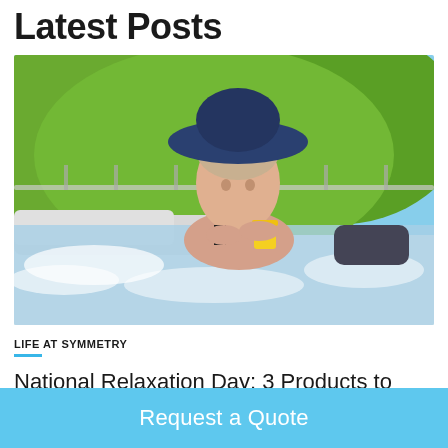Latest Posts
[Figure (photo): Woman in a wide-brim blue hat sitting in a hot tub holding a yellow cup, smiling, with green hillside and railing in the background]
LIFE AT SYMMETRY
National Relaxation Day: 3 Products to Help Your Clients Gain Peace of Mind
Request a Quote